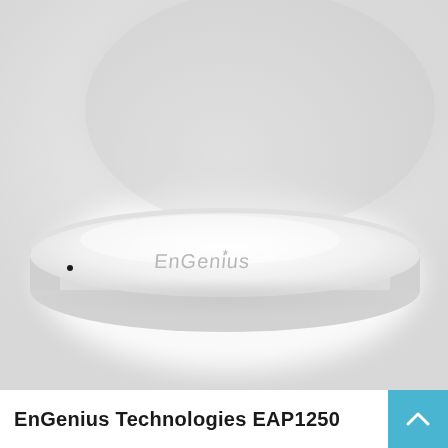[Figure (photo): EnGenius EAP1250 wireless access point — white circular/disc-shaped ceiling-mount device with 'EnGenius' logo on the face, photographed at a slight angle against a light gray/white background with subtle shadow.]
EnGenius Technologies EAP1250